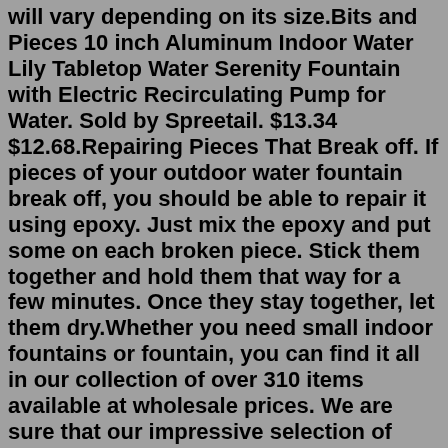will vary depending on its size.Bits and Pieces 10 inch Aluminum Indoor Water Lily Tabletop Water Serenity Fountain with Electric Recirculating Pump for Water. Sold by Spreetail. $13.34 $12.68.Repairing Pieces That Break off. If pieces of your outdoor water fountain break off, you should be able to repair it using epoxy. Just mix the epoxy and put some on each broken piece. Stick them together and hold them that way for a few minutes. Once they stay together, let them dry.Whether you need small indoor fountains or fountain, you can find it all in our collection of over 310 items available at wholesale prices. We are sure that our impressive selection of outdoor fountains, fountain heads, small indoor fountains and more will help you find something that matches your taste. Whatever is your choice, we have got you ...Step 14: Full the Reservoir With Water and Test It. Fill reservoir with water.Don't fill it up upto the LED strip level, the water level shall be lower than it.Now you are ready to test it. Be sure all the electrical joints are in dry condition. Switch on the pump and LED